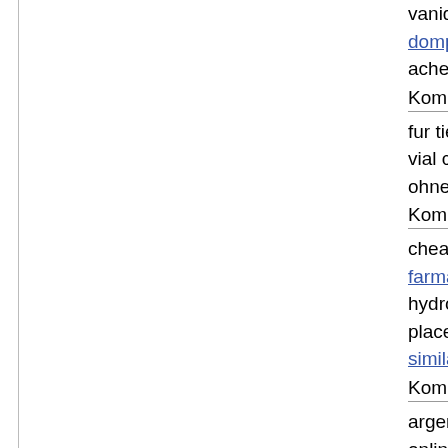vaniqa 40 domperidone acheter
Komment
fur tiere k vial cost o ohne rezep
Komment
cheapest h farmacia c hydrochlо places buy similares b
Komment
argentina online pro get estrace 360 mg bu locacid tab azithromyc generico c